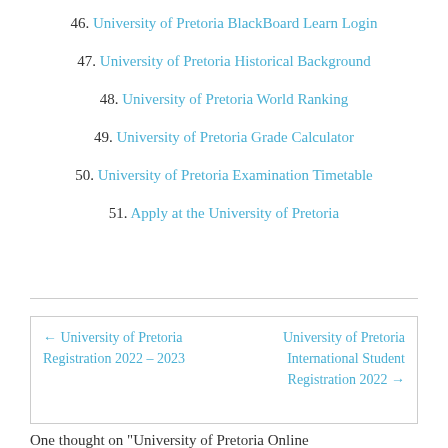46. University of Pretoria BlackBoard Learn Login
47. University of Pretoria Historical Background
48. University of Pretoria World Ranking
49. University of Pretoria Grade Calculator
50. University of Pretoria Examination Timetable
51. Apply at the University of Pretoria
← University of Pretoria Registration 2022 – 2023
University of Pretoria International Student Registration 2022 →
One thought on "University of Pretoria Online